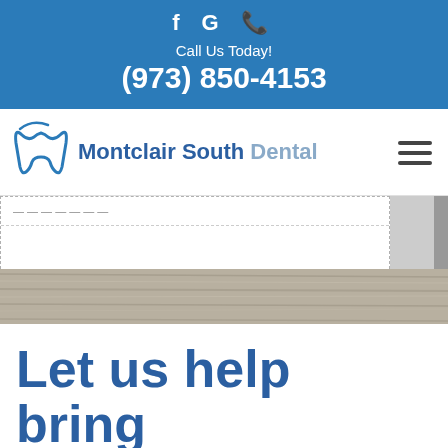f G ☎ Call Us Today! (973) 850-4153
[Figure (logo): Montclair South Dental logo with tooth icon and hamburger menu]
[Figure (photo): Partial view of a dental office interior with wood texture background]
Let us help bring out the best in